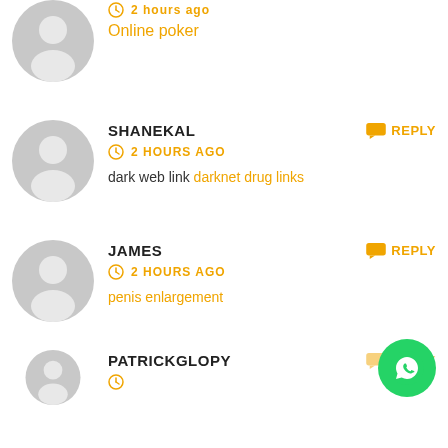[Figure (screenshot): Comment section showing user avatars, usernames, timestamps, and comment text with reply buttons and a WhatsApp floating button]
2 hours ago
Online poker
SHANEKAL
2 HOURS AGO
dark web link darknet drug links
JAMES
2 HOURS AGO
penis enlargement
PATRICKGLOPY